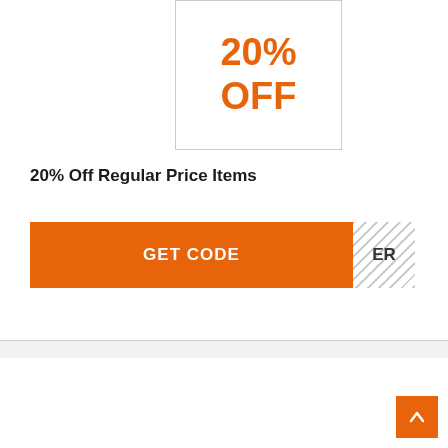[Figure (other): Coupon box showing '20% OFF' in large orange bold text on white background with border]
20% Off Regular Price Items
[Figure (other): Orange 'GET CODE' button with hatched reveal area on right showing 'ER']
[Figure (other): Second coupon card, partially visible at bottom with orange percentage text beginning to appear]
[Figure (other): Orange scroll-to-top button with upward chevron arrow in bottom right corner]